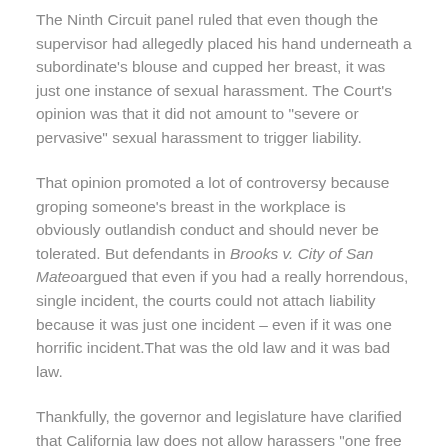The Ninth Circuit panel ruled that even though the supervisor had allegedly placed his hand underneath a subordinate's blouse and cupped her breast, it was just one instance of sexual harassment. The Court's opinion was that it did not amount to "severe or pervasive" sexual harassment to trigger liability.
That opinion promoted a lot of controversy because groping someone's breast in the workplace is obviously outlandish conduct and should never be tolerated. But defendants in Brooks v. City of San Mateo argued that even if you had a really horrendous, single incident, the courts could not attach liability because it was just one incident – even if it was one horrific incident. That was the old law and it was bad law.
Thankfully, the governor and legislature have clarified that California law does not allow harassers "one free grope"